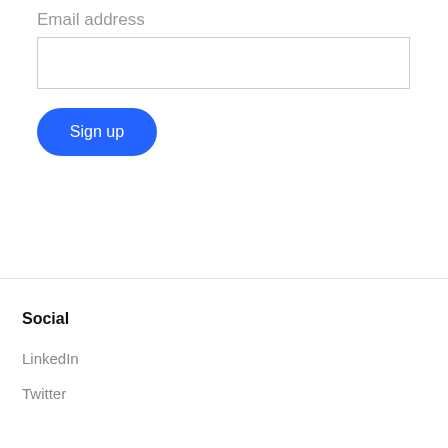Email address
[Figure (screenshot): Empty email address input text field with light grey border]
[Figure (screenshot): Blue rounded 'Sign up' button with white text]
Social
LinkedIn
Twitter